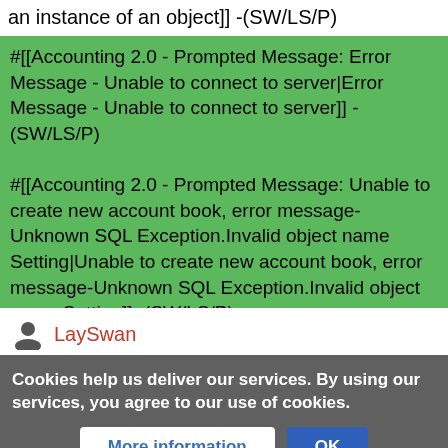an instance of an object]] -(SW/LS/P)
#[[Accounting 2.0 - Prompted Message: Error Message - Unable to connect to server|Error Message - Unable to connect to server]] -(SW/LS/P)
#[[Accounting 2.0 - Prompted Message: Unable to create new account book, error message-Unknown SQL Exception.Invalid object name Setting|Unable to create new account book, error message-Unknown SQL Exception.Invalid object name Setting]] -(SW/LS/P)
#[[Accounting 2.0 - Prompted Message: Import Data Error – Fail to save Item: xxx. The value of column
LaySwan
AUTHORS. ADMINISTRATORS
EDITS
Cookies help us deliver our services. By using our services, you agree to our use of cookies.
More information
OK